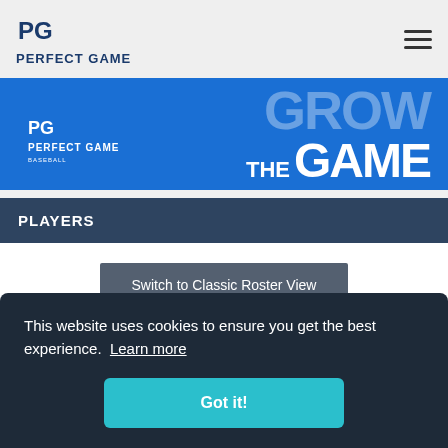[Figure (logo): Perfect Game baseball logo with PG icon and text PERFECT GAME]
[Figure (illustration): Perfect Game Baseball banner with GROW THE GAME text on blue background]
PLAYERS
Switch to Classic Roster View
This website uses cookies to ensure you get the best experience.  Learn more
Got it!